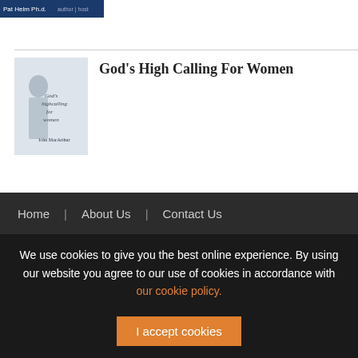[Figure (photo): Small banner image showing 'Pat Helm Ph.D.' text on a dark blue background]
[Figure (photo): Book cover for 'God's High Calling For Women' by John MacArthur — shows a woman's profile on a light grey background]
God's High Calling For Women
Home | About Us | Contact Us
We use cookies to give you the best online experience. By using our website you agree to our use of cookies in accordance with our cookie policy.
I accept cookies